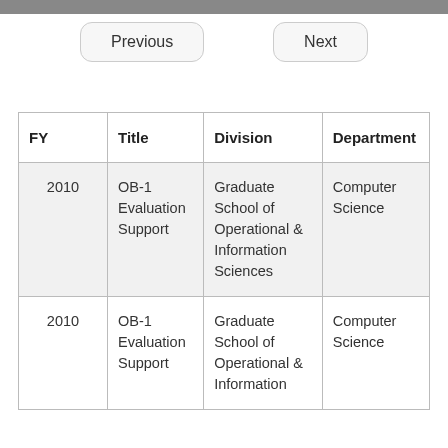Previous    Next
| FY | Title | Division | Department |
| --- | --- | --- | --- |
| 2010 | OB-1 Evaluation Support | Graduate School of Operational & Information Sciences | Computer Science |
| 2010 | OB-1 Evaluation Support | Graduate School of Operational & Information Sciences | Computer Science |